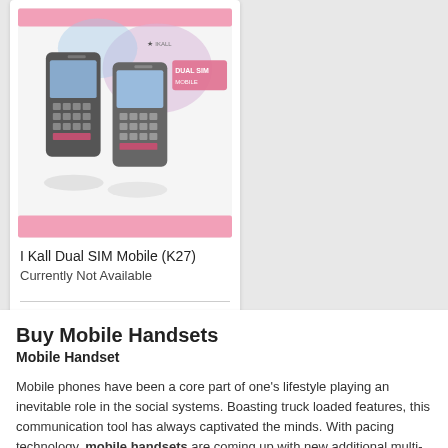[Figure (photo): Product image of I Kall Dual SIM Mobile (K27) showing two mobile phone handsets with pink banner reading DUAL SIM MOBILE and a small logo at the top]
I Kall Dual SIM Mobile (K27)
Currently Not Available
Add to Compare
Buy Mobile Handsets
Mobile Handset
Mobile phones have been a core part of one's lifestyle playing an inevitable role in the social systems. Boasting truck loaded features, this communication tool has always captivated the minds. With pacing technology, mobile handsets are coming up with new additional multi-